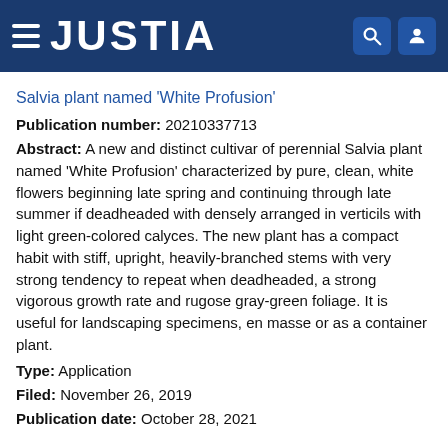JUSTIA
Salvia plant named 'White Profusion'
Publication number: 20210337713
Abstract: A new and distinct cultivar of perennial Salvia plant named 'White Profusion' characterized by pure, clean, white flowers beginning late spring and continuing through late summer if deadheaded with densely arranged in verticils with light green-colored calyces. The new plant has a compact habit with stiff, upright, heavily-branched stems with very strong tendency to repeat when deadheaded, a strong vigorous growth rate and rugose gray-green foliage. It is useful for landscaping specimens, en masse or as a container plant.
Type: Application
Filed: November 26, 2019
Publication date: October 28, 2021